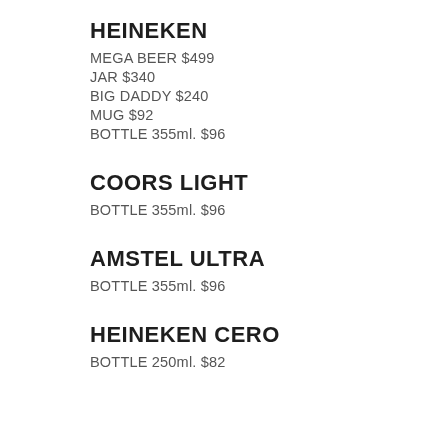HEINEKEN
MEGA BEER $499
JAR $340
BIG DADDY $240
MUG $92
BOTTLE 355ml. $96
COORS LIGHT
BOTTLE 355ml. $96
AMSTEL ULTRA
BOTTLE 355ml. $96
HEINEKEN CERO
BOTTLE 250ml. $82